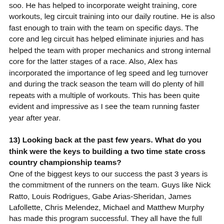soo. He has helped to incorporate weight training, core workouts, leg circuit training into our daily routine. He is also fast enough to train with the team on specific days. The core and leg circuit has helped eliminate injuries and has helped the team with proper mechanics and strong internal core for the latter stages of a race. Also, Alex has incorporated the importance of leg speed and leg turnover and during the track season the team will do plenty of hill repeats with a multiple of workouts. This has been quite evident and impressive as I see the team running faster year after year.
13) Looking back at the past few years. What do you think were the keys to building a two time state cross country championship teams?
One of the biggest keys to our success the past 3 years is the commitment of the runners on the team. Guys like Nick Ratto, Louis Rodrigues, Gabe Arias-Sheridan, James Lafollette, Chris Melendez, Michael and Matthew Murphy has made this program successful. They all have the full support of the school and the community and at the same time they make it fun. I could see that other students that were thinking about joining cross country are now giving it a shot and those that are looking to join the team will come out